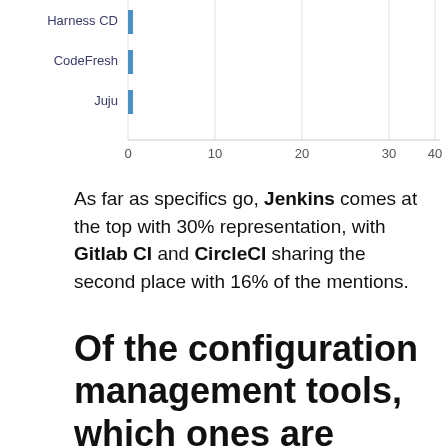[Figure (bar-chart): CI/CD tools usage]
As far as specifics go, Jenkins comes at the top with 30% representation, with Gitlab CI and CircleCI sharing the second place with 16% of the mentions.
Of the configuration management tools, which ones are